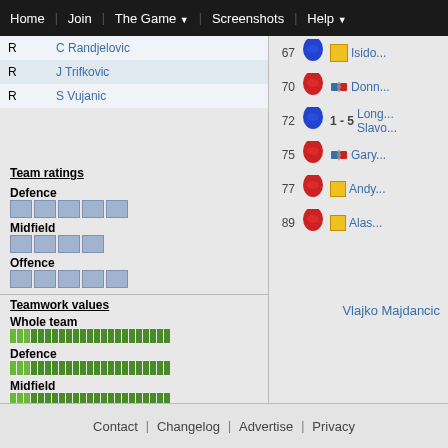Home | Join | The Game ▼ | Screenshots | Help ▼
| Pos | Name |
| --- | --- |
| R | C Randjelovic |
| R | J Trifkovic |
| R | S Vujanic |
Team ratings
Defence
Midfield
Offence
Teamwork values
Whole team
Defence
Midfield
Offence
67 Isido...
70 Donn...
72 1 - 5 Long... Slavo...
75 Gary...
77 Andy...
89 Alas...
Vlajko Majdancic
Contact | Changelog | Advertise | Privacy